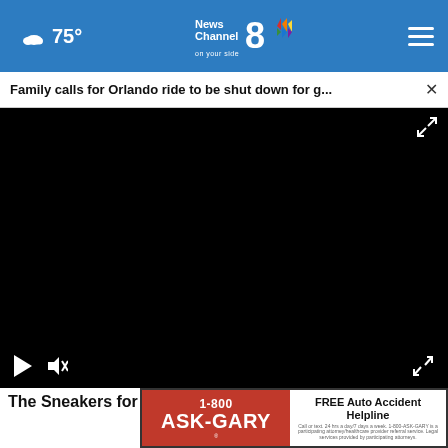75° News Channel 8 on your side
Family calls for Orlando ride to be shut down for g...
[Figure (screenshot): Black video player with play button, mute button, and fullscreen expand icon on dark control bar overlay]
The Sneakers for Standing All Day Without Discomfort - Now 50% off
[Figure (advertisement): 1-800 ASK-GARY advertisement banner with red background on left and FREE Auto Accident Helpline on white right side]